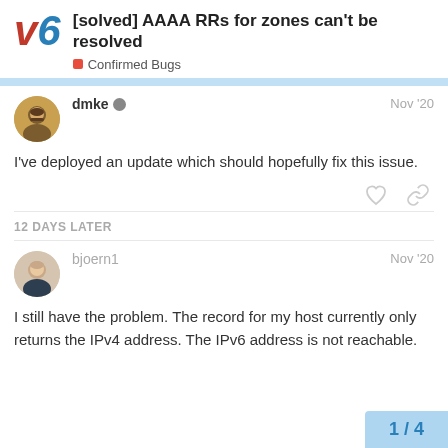[solved] AAAA RRs for zones can't be resolved — Confirmed Bugs
I've deployed an update which should hopefully fix this issue.
12 DAYS LATER
I still have the problem. The record for my host currently only returns the IPv4 address. The IPv6 address is not reachable.
1 / 4